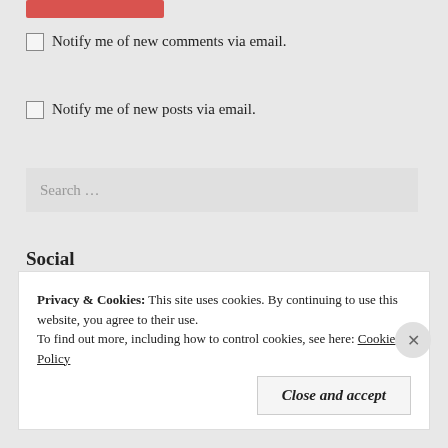[Figure (other): Red/coral colored submit button at top]
Notify me of new comments via email.
Notify me of new posts via email.
Search ...
Social
[Figure (other): Three social media icons: Twitter, Instagram, Pinterest — red/coral square rounded buttons]
Privacy & Cookies: This site uses cookies. By continuing to use this website, you agree to their use. To find out more, including how to control cookies, see here: Cookie Policy
Close and accept